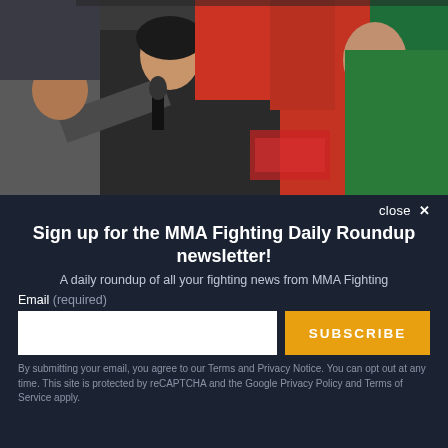[Figure (photo): Screenshot of a video showing people at what appears to be an MMA/UFC event. A woman is being interviewed with a microphone, surrounded by people in red t-shirts and one in a green shirt.]
close ✕
Sign up for the MMA Fighting Daily Roundup newsletter!
A daily roundup of all your fighting news from MMA Fighting
Email (required)
SUBSCRIBE
By submitting your email, you agree to our Terms and Privacy Notice. You can opt out at any time. This site is protected by reCAPTCHA and the Google Privacy Policy and Terms of Service apply.